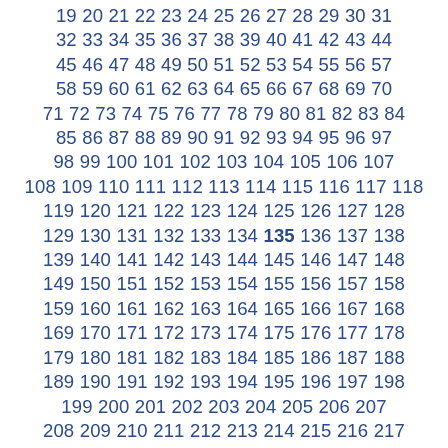19 20 21 22 23 24 25 26 27 28 29 30 31 32 33 34 35 36 37 38 39 40 41 42 43 44 45 46 47 48 49 50 51 52 53 54 55 56 57 58 59 60 61 62 63 64 65 66 67 68 69 70 71 72 73 74 75 76 77 78 79 80 81 82 83 84 85 86 87 88 89 90 91 92 93 94 95 96 97 98 99 100 101 102 103 104 105 106 107 108 109 110 111 112 113 114 115 116 117 118 119 120 121 122 123 124 125 126 127 128 129 130 131 132 133 134 135 136 137 138 139 140 141 142 143 144 145 146 147 148 149 150 151 152 153 154 155 156 157 158 159 160 161 162 163 164 165 166 167 168 169 170 171 172 173 174 175 176 177 178 179 180 181 182 183 184 185 186 187 188 189 190 191 192 193 194 195 196 197 198 199 200 201 202 203 204 205 206 207 208 209 210 211 212 213 214 215 216 217 218 219 220 221 222 223 224 225 226 227 228 229 230 231 232 233 234 235 236 237 238 239 240 241 242 243 244 245 246 247 248 249 250 251 252 253